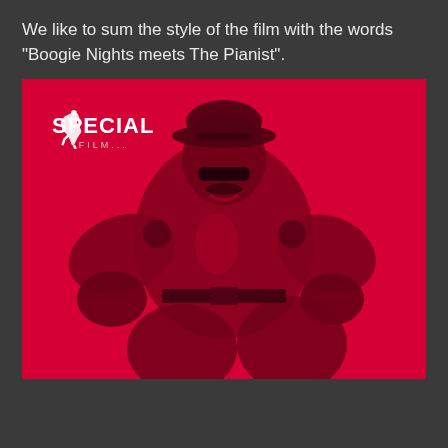We like to sum the style of the film with the words "Boogie Nights meets The Pianist".
[Figure (illustration): Movie poster on a bright red/magenta background featuring a muscular man in a police-style leather uniform and cap, seated in a chair. In the upper left corner is the 'SPECIAL FILM' logo with a rearing horse icon above bold white text 'SPECIAL' and smaller text 'FILM...' below.]